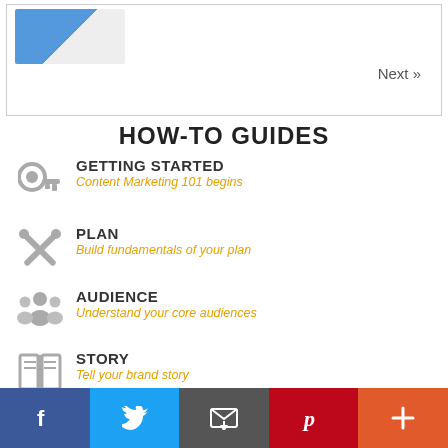[Figure (screenshot): Navigation box with 'Next »' link and a partial image in top-left]
HOW-TO GUIDES
GETTING STARTED — Content Marketing 101 begins
PLAN — Build fundamentals of your plan
AUDIENCE — Understand your core audiences
STORY — Tell your brand story
CHANNELS — Determine your distribution channels
[Figure (infographic): Social sharing bar: Facebook, Twitter, Email, Pinterest, More]